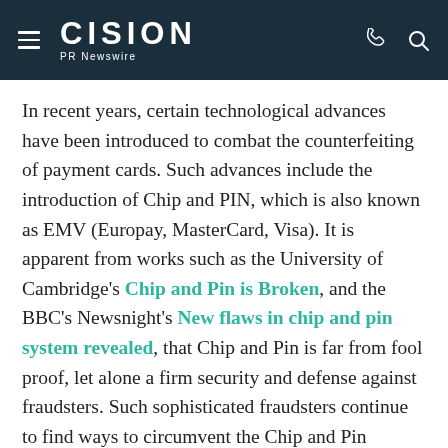CISION PR Newswire
In recent years, certain technological advances have been introduced to combat the counterfeiting of payment cards. Such advances include the introduction of Chip and PIN, which is also known as EMV (Europay, MasterCard, Visa). It is apparent from works such as the University of Cambridge's Chip and Pin is Broken, and the BBC's Newsnight's New flaws in chip and pin system revealed, that Chip and Pin is far from fool proof, let alone a firm security and defense against fraudsters. Such sophisticated fraudsters continue to find ways to circumvent the Chip and Pin protocol, and defraud people of billions of dollars every year.